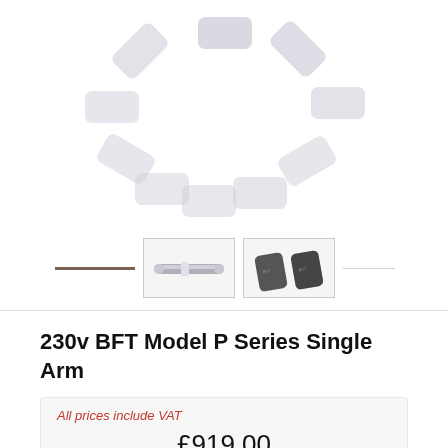[Figure (photo): Loading spinner graphic (rounded rectangle segments arranged in a circle) above product thumbnail images. Two thumbnail photos visible: one showing a silver cylindrical arm opener device, and one showing two dark grey curved arm components.]
230v BFT Model P Series Single Arm
All prices include VAT
£919.00
Select Model